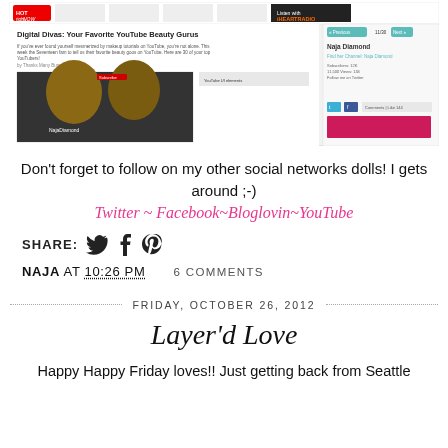[Figure (screenshot): Screenshot of a webpage titled 'Digital Divas: Your Favorite YouTube Beauty Gurus' showing a YouTube video thumbnail with two women and a sidebar with 'Naja Diamond' profile information.]
Don't forget to follow on my other social networks dolls! I gets around ;-)
Twitter ~ Facebook~Bloglovin~YouTube
SHARE:
NAJA AT 10:26 PM   6 COMMENTS
FRIDAY, OCTOBER 26, 2012
Layer'd Love
Happy Happy Friday loves!! Just getting back from Seattle